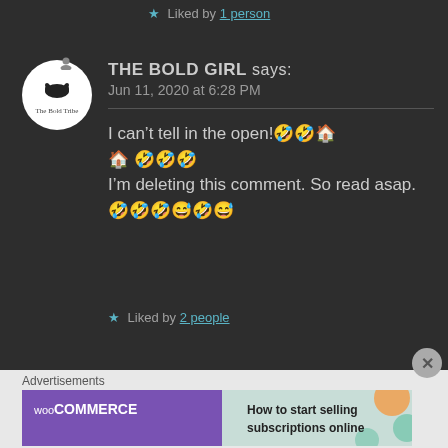★ Liked by 1 person
THE BOLD GIRL says:
Jun 11, 2020 at 6:28 PM
I can't tell in the open!🤣🤣🏠🏠 🤣🤣🤣
I'm deleting this comment. So read asap.🤣🤣🤣😅🤣😅
★ Liked by 2 people
Advertisements
[Figure (infographic): WooCommerce advertisement banner: 'How to start selling subscriptions online']